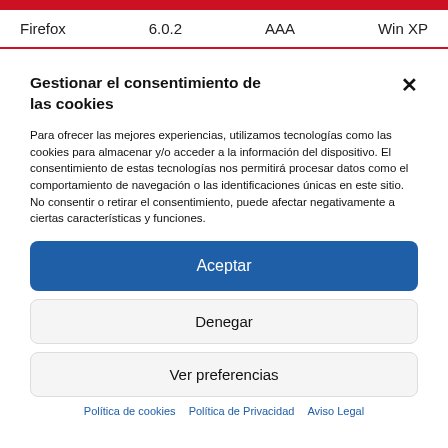| Firefox | 6.0.2 | AAA | Win XP |
| --- | --- | --- | --- |
Gestionar el consentimiento de las cookies
Para ofrecer las mejores experiencias, utilizamos tecnologías como las cookies para almacenar y/o acceder a la información del dispositivo. El consentimiento de estas tecnologías nos permitirá procesar datos como el comportamiento de navegación o las identificaciones únicas en este sitio. No consentir o retirar el consentimiento, puede afectar negativamente a ciertas características y funciones.
Aceptar
Denegar
Ver preferencias
Política de cookies   Política de Privacidad   Aviso Legal